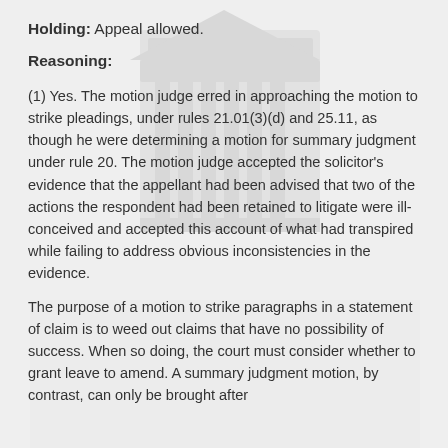Holding: Appeal allowed.
Reasoning:
(1) Yes. The motion judge erred in approaching the motion to strike pleadings, under rules 21.01(3)(d) and 25.11, as though he were determining a motion for summary judgment under rule 20. The motion judge accepted the solicitor’s evidence that the appellant had been advised that two of the actions the respondent had been retained to litigate were ill-conceived and accepted this account of what had transpired while failing to address obvious inconsistencies in the evidence.
The purpose of a motion to strike paragraphs in a statement of claim is to weed out claims that have no possibility of success. When so doing, the court must consider whether to grant leave to amend. A summary judgment motion, by contrast, can only be brought after